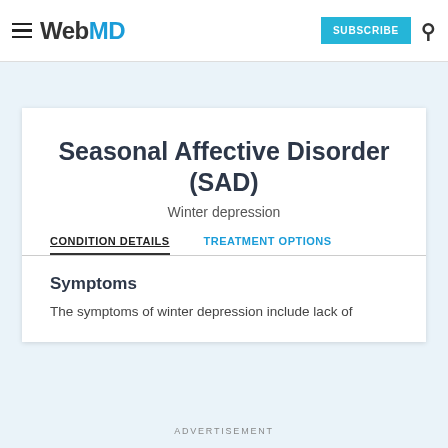WebMD | SUBSCRIBE
Seasonal Affective Disorder (SAD)
Winter depression
CONDITION DETAILS | TREATMENT OPTIONS
Symptoms
The symptoms of winter depression include lack of
ADVERTISEMENT